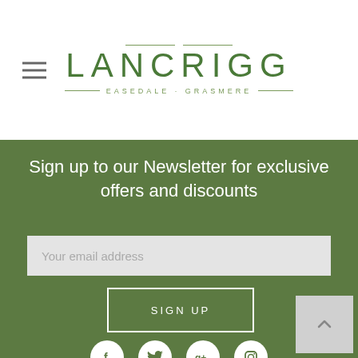[Figure (logo): Lancrigg hotel logo with hamburger menu icon on left, large green LANCRIGG text centered with decorative lines above and below, subtitle EASEDALE · GRASMERE]
Sign up to our Newsletter for exclusive offers and discounts
Your email address
SIGN UP
[Figure (infographic): Row of four social media icons: Facebook, Twitter, Google+, Instagram — white circles on green background]
The Lancrigg Hotel
Easedale Road, Grasmere, Cumbria, LA22 9Q
+44 (0)15394 35317